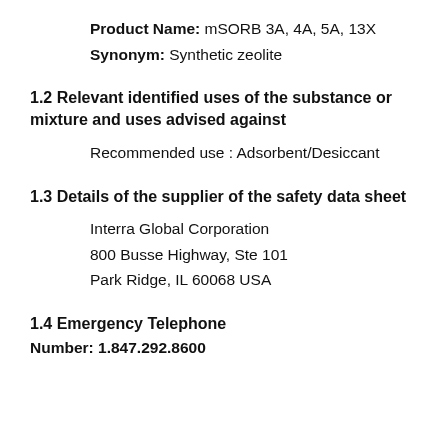Product Name: mSORB 3A, 4A, 5A, 13X
Synonym: Synthetic zeolite
1.2 Relevant identified uses of the substance or mixture and uses advised against
Recommended use : Adsorbent/Desiccant
1.3 Details of the supplier of the safety data sheet
Interra Global Corporation
800 Busse Highway, Ste 101
Park Ridge, IL 60068 USA
1.4 Emergency Telephone Number: 1.847.292.8600